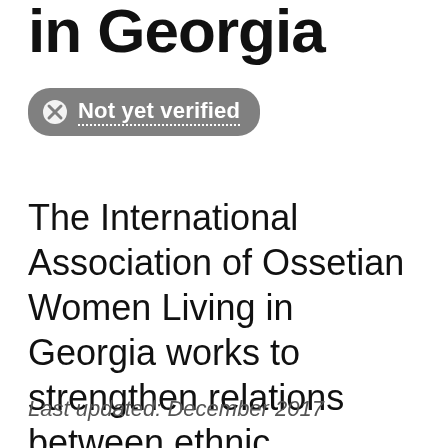in Georgia
[Figure (other): Not yet verified badge - grey rounded rectangle with X icon and dotted underline text]
The International Association of Ossetian Women Living in Georgia works to strengthen relations between ethnic Georgian women and Ossetian women.
Last updated: December 2017